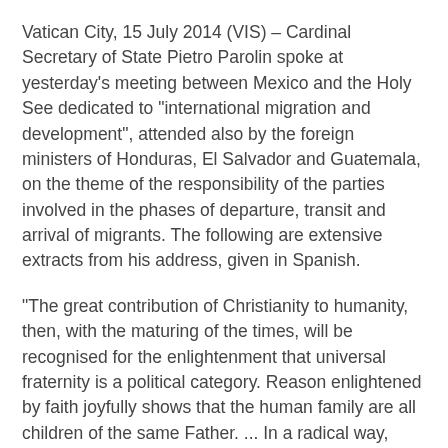Vatican City, 15 July 2014 (VIS) – Cardinal Secretary of State Pietro Parolin spoke at yesterday's meeting between Mexico and the Holy See dedicated to "international migration and development", attended also by the foreign ministers of Honduras, El Salvador and Guatemala, on the theme of the responsibility of the parties involved in the phases of departure, transit and arrival of migrants. The following are extensive extracts from his address, given in Spanish.
“The great contribution of Christianity to humanity, then, with the maturing of the times, will be recognised for the enlightenment that universal fraternity is a political category. Reason enlightened by faith joyfully shows that the human family are all children of the same Father. ... In a radical way, Christianity has stated from the very beginning that we are all free, we are all equal, we are all brothers. As a result, the dignity of the person derives not from their economic situation, political affiliation, level of education, immigration status or religious belief. Every human being, for the very fact of being a person, possesses a dignity that deserves to be treated with the utmost respect...